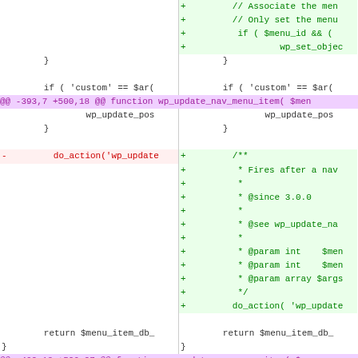[Figure (screenshot): A unified diff view showing changes to a WordPress nav menu PHP file. Left column shows old code, right column shows new code. Added lines are green with + markers, removed lines are red with - markers, hunk headers are purple, context lines are black on white.]